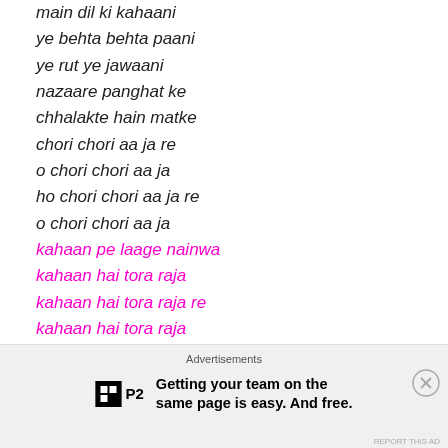main dil ki kahaani
ye behta behta paani
ye rut ye jawaani
nazaare panghat ke
chhalakte hain matke
chori chori aa ja re
o chori chori aa ja
ho chori chori aa ja re
o chori chori aa ja
kahaan pe laage nainwa
kahaan hai tora raja
kahaan hai tora raja re
kahaan hai tora raja
Advertisements
Getting your team on the same page is easy. And free.